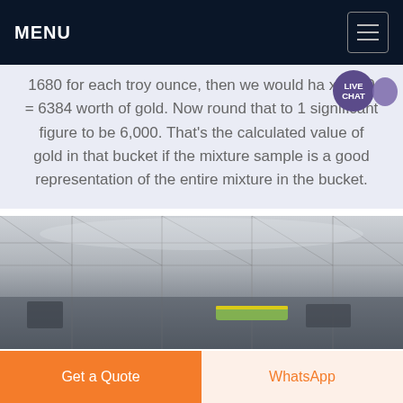MENU
1680 for each troy ounce, then we would ha x 1680 = 6384 worth of gold. Now round that to 1 significant figure to be 6,000. That’s the calculated value of gold in that bucket if the mixture sample is a good representation of the entire mixture in the bucket.
[Figure (photo): Interior of an industrial factory or recycling facility with steel frame structure, high ceiling, and equipment visible on the floor including a yellow conveyor belt.]
Get a Quote
WhatsApp